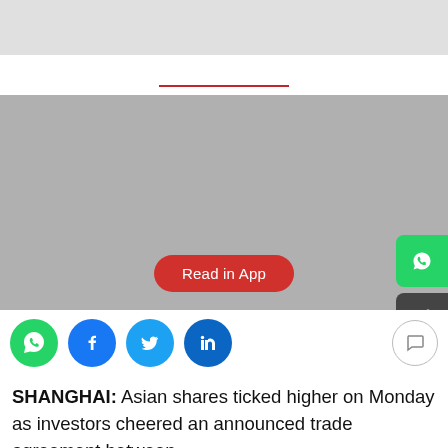[Figure (screenshot): Grey header bar at top of webpage screenshot]
[Figure (screenshot): Navigation bar with red underline accent]
[Figure (photo): Large grey placeholder image area with a red 'Read in App' button overlay and floating WhatsApp and share buttons on the right edge]
[Figure (screenshot): Social sharing icon bar: WhatsApp (green), Facebook (blue), Twitter (light blue), LinkedIn (dark blue), and a comment button on the right]
SHANGHAI: Asian shares ticked higher on Monday as investors cheered an announced trade agreement between Beijing and Washington, though analysts said the deal did...